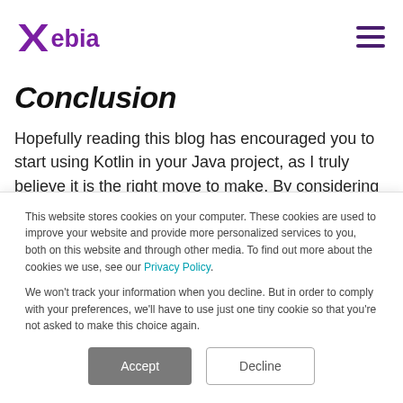Xebia
Conclusion
Hopefully reading this blog has encouraged you to start using Kotlin in your Java project, as I truly believe it is the right move to make. By considering these lessons learned, you are
This website stores cookies on your computer. These cookies are used to improve your website and provide more personalized services to you, both on this website and through other media. To find out more about the cookies we use, see our Privacy Policy.

We won't track your information when you decline. But in order to comply with your preferences, we'll have to use just one tiny cookie so that you're not asked to make this choice again.